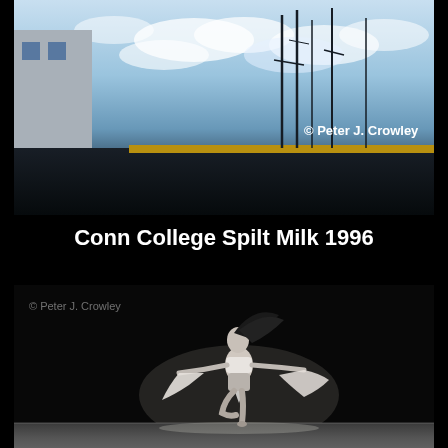[Figure (photo): Outdoor photograph showing a building with windows on the left, ship masts in the background, cloudy sky, and a dark barrier/fence in the lower portion. Copyright watermark '© Peter J. Crowley' in white bold text at lower right.]
Conn College Spilt Milk 1996
[Figure (photo): Black and white photograph of a female dancer on stage, spinning with arms outstretched holding flowing fabric, hair flying, wearing a cropped top and shorts. Spotlight illuminates her against a very dark background. Stage floor visible at bottom. Copyright watermark '© Peter J. Crowley' in gray text at upper left.]